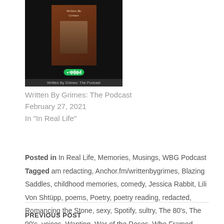[Figure (photo): Podcast cover image for 'Written By Grimes: The Podcast' showing a dark background with a book cover image and a Spotify player bar. Caption reads 'Written By Grimes: The Podcast']
Written By Grimes: The Podcast
February 27, 2021
In "In Real Life"
Posted in In Real Life, Memories, Musings, WBG Podcast

Tagged am redacting, Anchor.fm/writtenbygrimes, Blazing Saddles, childhood memories, comedy, Jessica Rabbit, Lili Von Shtüpp, poems, Poetry, poetry reading, redacted, Romancing the Stone, sexy, Spotify, sultry, The 80's, The 90's, voices, Wanting, War of the Roses, Who Framed Roger Rabbit?, Written By Grimes: The Podcast
PREVIOUS POST